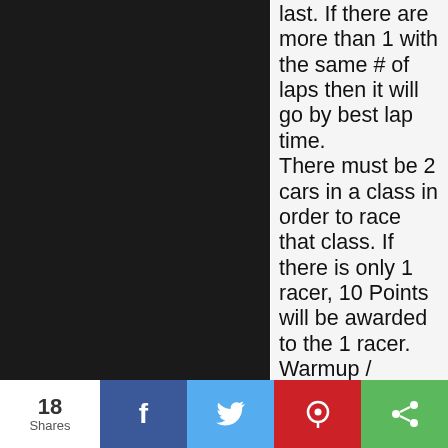last. If there are more than 1 with the same # of laps then it will go by best lap time. There must be 2 cars in a class in order to race that class. If there is only 1 racer, 10 Points will be awarded to the 1 racer. Warmup / Practice will be from 9 to 10:30am Heat Races start
The Next Level Fall Classic
Track: Next Level RC Raceway
Location: Cam, IL, US
Date: 09/0 - 09/0
18 Shares  f  [twitter]  [pinterest]  [share]